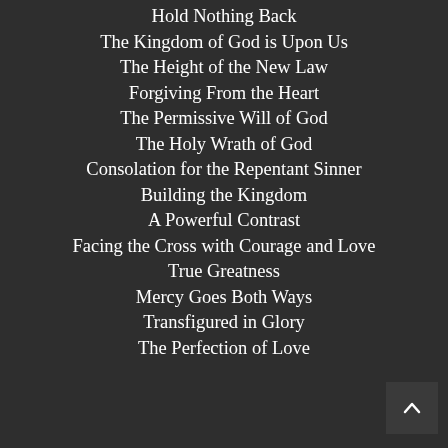Hold Nothing Back
The Kingdom of God is Upon Us
The Height of the New Law
Forgiving From the Heart
The Permissive Will of God
The Holy Wrath of God
Consolation for the Repentant Sinner
Building the Kingdom
A Powerful Contrast
Facing the Cross with Courage and Love
True Greatness
Mercy Goes Both Ways
Transfigured in Glory
The Perfection of Love